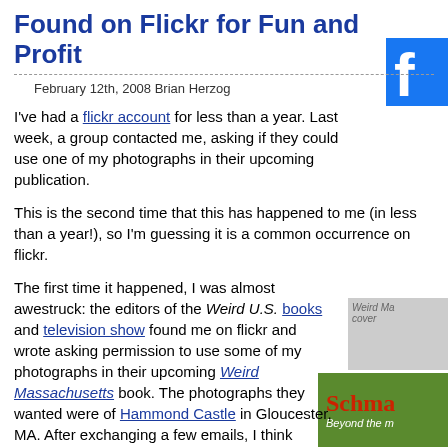Found on Flickr for Fun and Profit
February 12th, 2008 Brian Herzog
I've had a flickr account for less than a year. Last week, a group contacted me, asking if they could use one of my photographs in their upcoming publication.
This is the second time that this has happened to me (in less than a year!), so I'm guessing it is a common occurrence on flickr.
The first time it happened, I was almost awestruck: the editors of the Weird U.S. books and television show found me on flickr and wrote asking permission to use some of my photographs in their upcoming Weird Massachusetts book. The photographs they wanted were of Hammond Castle in Gloucester, MA. After exchanging a few emails, I think they're also going to use some I took around Westford, MA, of the Westford Knight and an Edgar Allan Poe memorial.
[Figure (logo): Facebook logo 'f' in blue]
[Figure (photo): Weird Ma cover image]
In exchange, they've agreed to send a couple copies of the book for me and my library, and also come to my library during their book tour.
The more recent flickr contact from last week was from Schmap, publisher of, I think, electronic travel guides and maps. They specifically asked about some pictures I took in Omaha, of where I stayed and a couple local businesses.
[Figure (logo): Schmap logo - Beyond the m...]